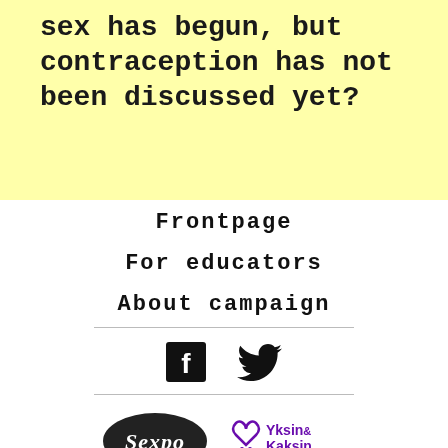sex has begun, but contraception has not been discussed yet?
Frontpage
For educators
About campaign
[Figure (illustration): Facebook and Twitter social media icons]
[Figure (logo): Sexpo logo and Yksin & Kaksin logo]